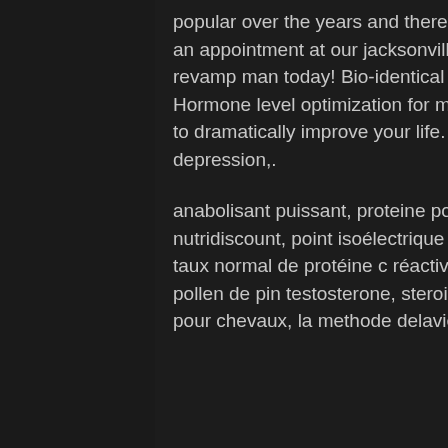popular over the years and there has been an increasing debate on whether. Schedule an appointment at our jacksonville testosterone replacement therapy clinic. Become a revamp man today! Bio-identical hormone replacement therapy in jacksonville, nc. Hormone level optimization for men. Testosterone replacement therapy has the potential to dramatically improve your life. Low testosterone levels can be related to hair loss, depression,.
anabolisant puissant, proteine pour maigrir, salle de sport la roche sur yon, cure hgh, nutridiscount, point isoélectrique protéine, protéine végétale musculation, quel est le taux normal de protéine c réactive ?, seance d entraînement de football seniors gratuit, pollen de pin testosterone, steroide anabolisant nom, steroide anabolisant pour chevaux, la methode delavier de musculation guide if de la musculation